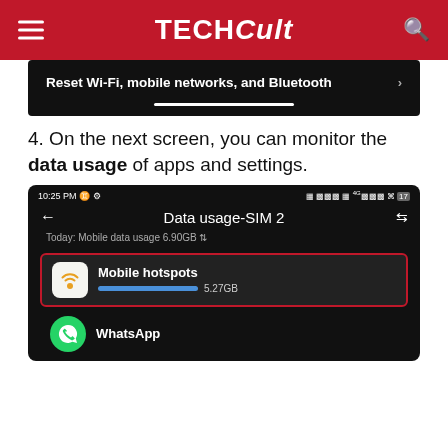TechCult
[Figure (screenshot): Android Settings screenshot showing 'Reset Wi-Fi, mobile networks, and Bluetooth' option with a chevron arrow and white scroll indicator bar at the bottom]
4. On the next screen, you can monitor the data usage of apps and settings.
[Figure (screenshot): Android phone screenshot showing Data usage-SIM 2 screen at 10:25 PM, with Mobile hotspots entry highlighted in a red border showing 5.27GB usage with blue progress bar, and WhatsApp entry below]